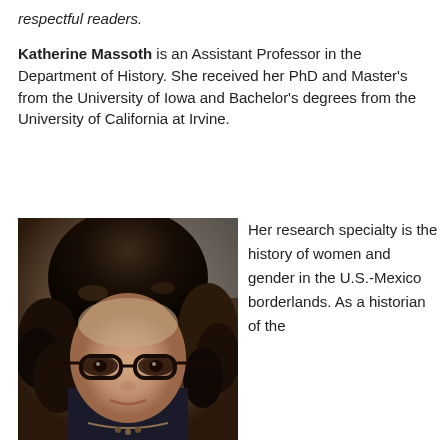respectful readers.
Katherine Massoth is an Assistant Professor in the Department of History. She received her PhD and Master's from the University of Iowa and Bachelor's degrees from the University of California at Irvine.
[Figure (photo): Portrait photo of Katherine Massoth, a woman with curly dark hair and glasses, looking directly at the camera.]
Her research specialty is the history of women and gender in the U.S.-Mexico borderlands. As a historian of the